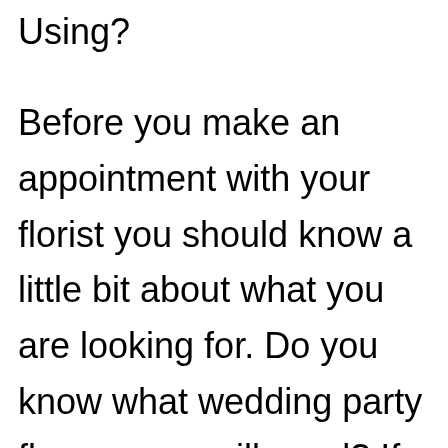Using?
Before you make an appointment with your florist you should know a little bit about what you are looking for. Do you know what wedding party flowers you will need? If not, read on.